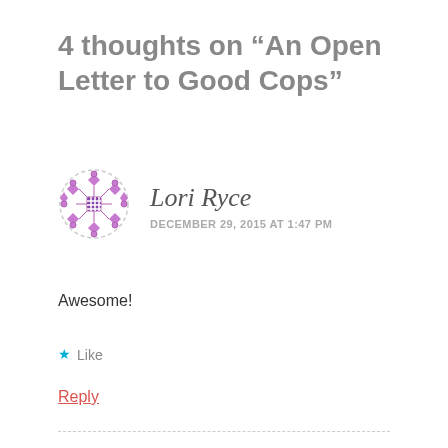4 thoughts on “An Open Letter to Good Cops”
[Figure (illustration): Circular avatar with a purple/pink geometric decorative pattern on white background with dashed border]
Lori Ryce
DECEMBER 29, 2015 AT 1:47 PM
Awesome!
★ Like
Reply